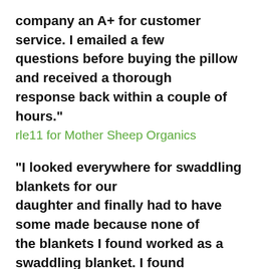company an A+ for customer service. I emailed a few questions before buying the pillow and received a thorough response back within a couple of hours."
rle11 for Mother Sheep Organics
"I looked everywhere for swaddling blankets for our daughter and finally had to have some made because none of the blankets I found worked as a swaddling blanket. I found these while on a trip to Seattle, WA and bought three immediately. My wife likes the fabric and our daughter sleeps
ir
This website uses cookies to ensure you get the best experience on our website.
tal
nts!"
Learn more
s
Got it!
🛒 Cart (0)
responsible to people and environment. This com